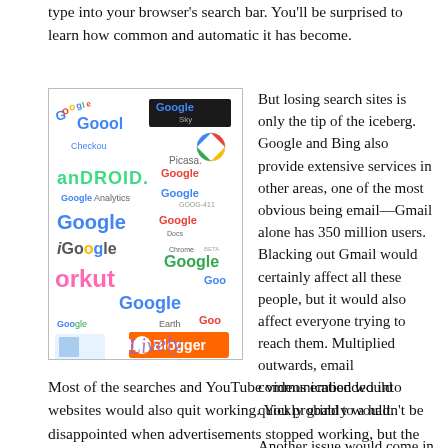type into your browser's search bar. You'll be surprised to learn how common and automatic it has become.
[Figure (illustration): Collage of various Google product logos and brand names including Google, Android, YouTube, Blogger, Picasa, Chrome, Google Analytics, Google Docs, Google Earth, Lively, OpenSocial, Google AdSense, Google Sky, and others in various colors and styles.]
But losing search sites is only the tip of the iceberg. Google and Bing also provide extensive services in other areas, one of the most obvious being email—Gmail alone has 350 million users. Blacking out Gmail would certainly affect all these people, but it would also affect everyone trying to reach them. Multiplied outwards, email communication would quickly grind to a halt.

Another issue would come in when you try to access maps online or on your phone. The apps that run these maps on the iPhone or Android are done through Google Maps.
Most of the searches and YouTube videos embedded into websites would also quit working. You probably wouldn't be disappointed when advertisements stopped working, but the